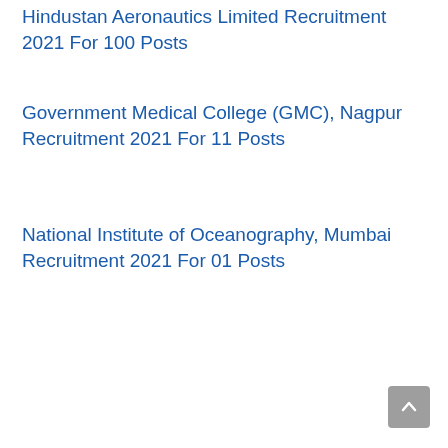Hindustan Aeronautics Limited Recruitment 2021 For 100 Posts
Government Medical College (GMC), Nagpur Recruitment 2021 For 11 Posts
National Institute of Oceanography, Mumbai Recruitment 2021 For 01 Posts